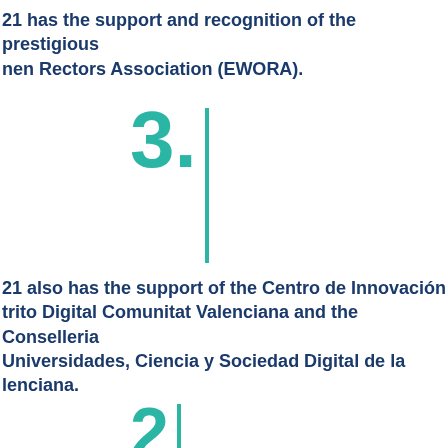21 has the support and recognition of the prestigious nen Rectors Association (EWORA).
[Figure (infographic): Large teal number '3.' with a vertical teal line beside it]
21 also has the support of the Centro de Innovación trito Digital Comunitat Valenciana and the Conselleria Universidades, Ciencia y Sociedad Digital de la lenciana.
[Figure (infographic): Large teal number '2' with a vertical teal line beside it, partially visible at bottom]